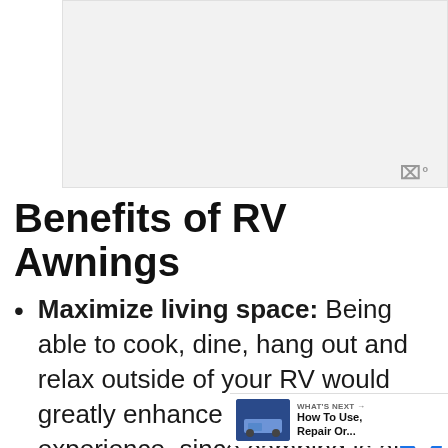[Figure (other): Advertisement placeholder area - light gray rectangle]
Benefits of RV Awnings
Maximize living space: Being able to cook, dine, hang out and relax outside of your RV would greatly enhance your camping experience, since camping is all about living among nature and enjoying the views. This also allows you additional living space beyond the